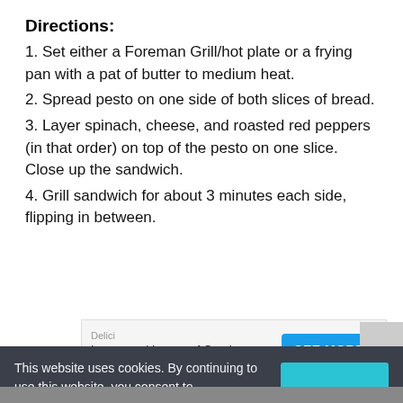Directions:
1. Set either a Foreman Grill/hot plate or a frying pan with a pat of butter to medium heat.
2. Spread pesto on one side of both slices of bread.
3. Layer spinach, cheese, and roasted red peppers (in that order) on top of the pesto on one slice. Close up the sandwich.
4. Grill sandwich for about 3 minutes each side, flipping in between.
[Figure (other): Advertisement banner: Delici brand, text 'Layers and Layers of Goodness', SEE MORE button in blue]
This website uses cookies. By continuing to use this website, you consent to SpoonUniversity.com's usage of cookies and similar technologies Learn more